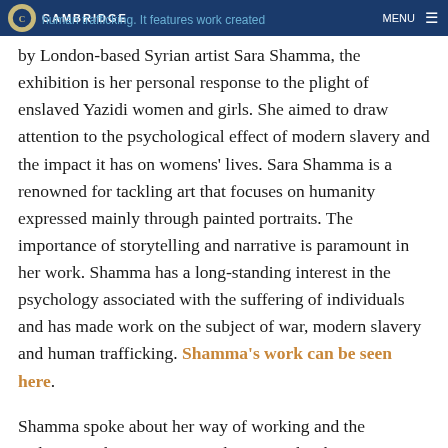CAMBRIDGE
human trafficking. It features work created by London-based Syrian artist Sara Shamma, the exhibition is her personal response to the plight of enslaved Yazidi women and girls. She aimed to draw attention to the psychological effect of modern slavery and the impact it has on womens' lives. Sara Shamma is a renowned for tackling art that focuses on humanity expressed mainly through painted portraits. The importance of storytelling and narrative is paramount in her work. Shamma has a long-standing interest in the psychology associated with the suffering of individuals and has made work on the subject of war, modern slavery and human trafficking. Shamma's work can be seen here.
Shamma spoke about her way of working and the techniques she uses to create her artwork. The